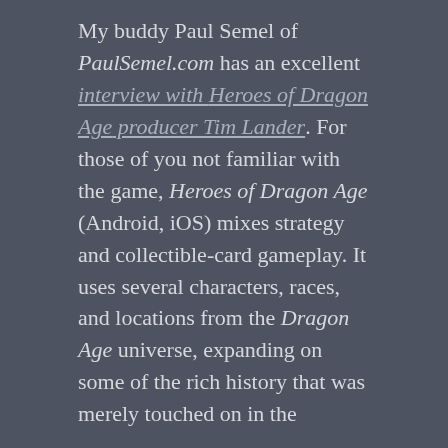My buddy Paul Semel of PaulSemel.com has an excellent interview with Heroes of Dragon Age producer Tim Lander. For those of you not familiar with the game, Heroes of Dragon Age (Android, iOS) mixes strategy and collectible-card gameplay. It uses several characters, races, and locations from the Dragon Age universe, expanding on some of the rich history that was merely touched on in the